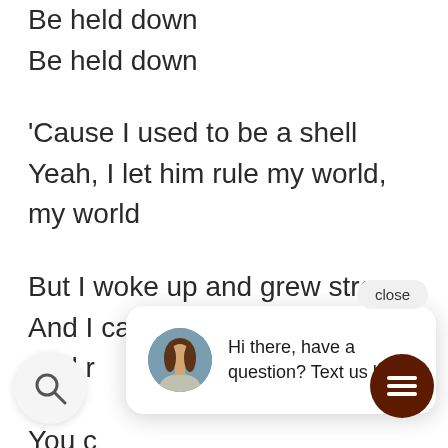Be held down
Be held down
'Cause I used to be a shell
Yeah, I let him rule my world,
my world
But I woke up and grew strong
And I can still go on
And r
You c
You're the one that rules your world, oh
You are strong
And you'll learn that you can
[Figure (screenshot): Chat widget popup with avatar photo of a woman, text 'Hi there, have a question? Text us here.' and a close button. Also a dark brown circular chat icon button and a search icon button.]